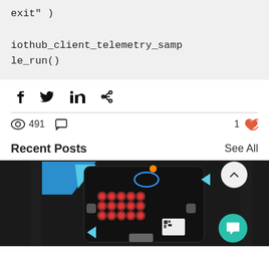exit" )

iothub_client_telemetry_sample_run()
[Figure (screenshot): Social share icons: Facebook, Twitter, LinkedIn, and link copy]
491 views, 1 like, 0 comments
Recent Posts
See All
[Figure (photo): Micro:bit device with LED matrix lit up in red pattern, on a dark surface, with teal/blue corner accents]